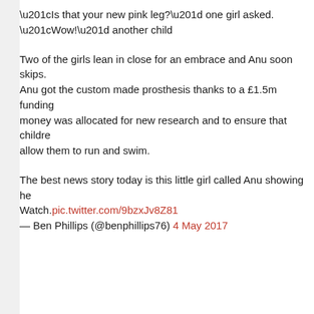“Is that your new pink leg?” one girl asked. “Wow!” another child
Two of the girls lean in close for an embrace and Anu soon skips. Anu got the custom made prosthesis thanks to a £1.5m funding money was allocated for new research and to ensure that childre allow them to run and swim.
The best news story today is this little girl called Anu showing he Watch.pic.twitter.com/9bzxJv8Z81
— Ben Phillips (@benphillips76) 4 May 2017